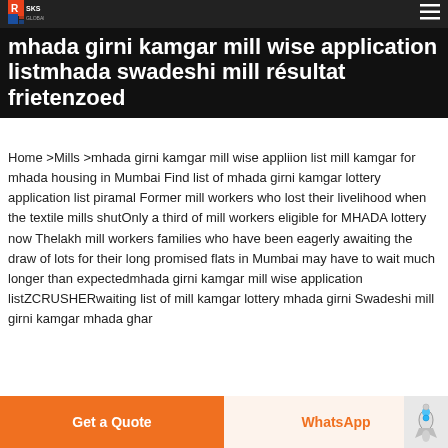SKS
mhada girni kamgar mill wise application listmhada swadeshi mill resultat frietenzoed
Home >Mills >mhada girni kamgar mill wise appliion list mill kamgar for mhada housing in Mumbai Find list of mhada girni kamgar lottery application list piramal Former mill workers who lost their livelihood when the textile mills shutOnly a third of mill workers eligible for MHADA lottery now Thelakh mill workers families who have been eagerly awaiting the draw of lots for their long promised flats in Mumbai may have to wait much longer than expectedmhada girni kamgar mill wise application listZCRUSHERwaiting list of mill kamgar lottery mhada girni Swadeshi mill girni kamgar mhada ghar
Get a Quote   WhatsApp